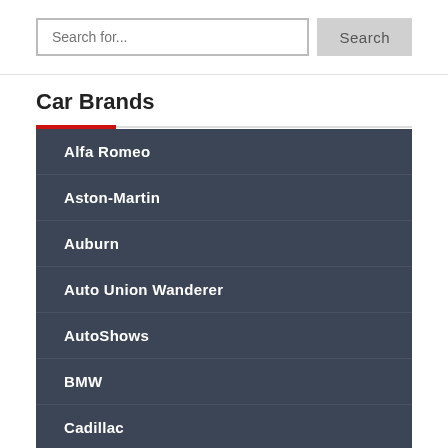Search for...
Car Brands
Alfa Romeo
Aston-Martin
Auburn
Auto Union Wanderer
AutoShows
BMW
Cadillac